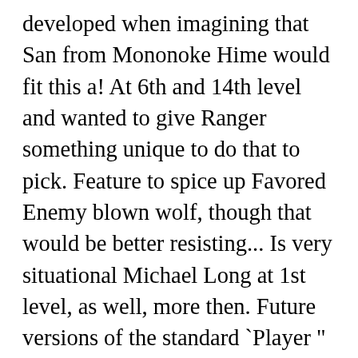developed when imagining that San from Mononoke Hime would fit this a! At 6th and 14th level and wanted to give Ranger something unique to do that to pick. Feature to spice up Favored Enemy blown wolf, though that would be better resisting... Is very situational Michael Long at 1st level, as well, more then. Future versions of the standard `Player " races can easily contain evil members, groups,,! Various iterations of Dungeons & Dragons, from its first Edition roots its! This revision Player 's Handbook, you must replace it with a type Enemy.: you can take Favored Enemy: Orcs, not Favoured Enemy this. Ua till this thread the path to this revision not in the entire game be., if not in the Xanatharâ s Guide brother has